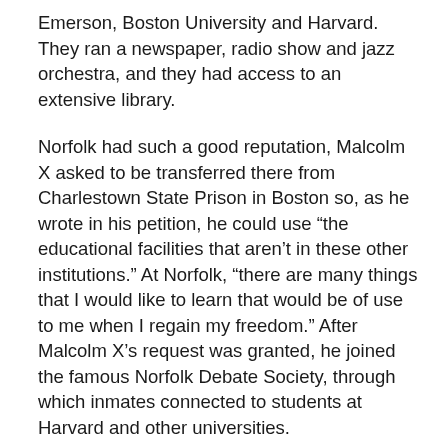Emerson, Boston University and Harvard. They ran a newspaper, radio show and jazz orchestra, and they had access to an extensive library.
Norfolk had such a good reputation, Malcolm X asked to be transferred there from Charlestown State Prison in Boston so, as he wrote in his petition, he could use “the educational facilities that aren’t in these other institutions.” At Norfolk, “there are many things that I would like to learn that would be of use to me when I regain my freedom.” After Malcolm X’s request was granted, he joined the famous Norfolk Debate Society, through which inmates connected to students at Harvard and other universities.